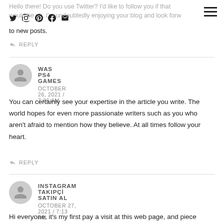Hello there! Do you use Twitter? I'd like to follow you if that would be ok. I'm undoubtedly enjoying your blog and look forward to new posts.
↩ REPLY
WAS PS4 GAMES
OCTOBER 26, 2021 / 7:06 AM
You can certainly see your expertise in the article you write. The world hopes for even more passionate writers such as you who aren't afraid to mention how they believe. At all times follow your heart.
↩ REPLY
INSTAGRAM TAKIPÇİ SATIN AL
OCTOBER 27, 2021 / 7:13 AM
Hi everyone, it's my first pay a visit at this web page, and piece